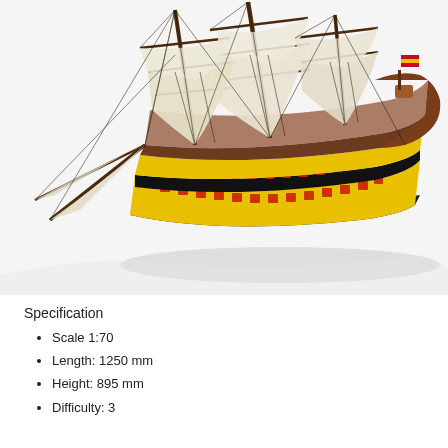[Figure (photo): A detailed scale model of a large wooden sailing warship with multiple masts, full sails, and a colorfully painted hull featuring yellow and black checker pattern with red gun ports. The ship is shown at an angle revealing the deck and rigging. A small Spanish flag is visible at the stern.]
Specification
Scale 1:70
Length: 1250 mm
Height: 895 mm
Difficulty: 3